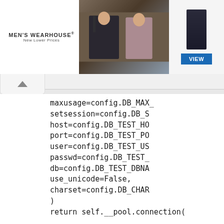[Figure (screenshot): Men's Wearhouse advertisement banner with couple in formal wear and a 'VIEW' button]
maxusage=config.DB_MAX_
setsession=config.DB_S
host=config.DB_TEST_HO
port=config.DB_TEST_PO
user=config.DB_TEST_US
passwd=config.DB_TEST_
db=config.DB_TEST_DBNA
use_unicode=False,
charset=config.DB_CHAR
)
return self.__pool.connection(

# xxxxxxx
def __exit__(self, exc_type, exc_v
    self.cursor.close()